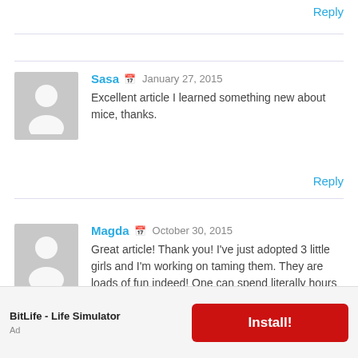Reply
Sasa  January 27, 2015
Excellent article I learned something new about mice, thanks.
Reply
Magda  October 30, 2015
Great article! Thank you! I've just adopted 3 little girls and I'm working on taming them. They are loads of fun indeed! One can spend literally hours (night time!) on their "flying saucer" t...
[Figure (infographic): Ad banner for BitLife - Life Simulator with Install! button]